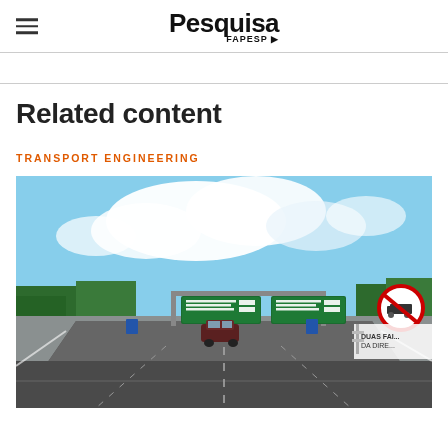Pesquisa FAPESP
Related content
TRANSPORT ENGINEERING
[Figure (photo): Low-angle road-level photograph of a Brazilian highway showing overhead green directional signs, a red circular no-trucks sign, a dark SUV in the distance, green trees on either side, and a partly cloudy sky.]